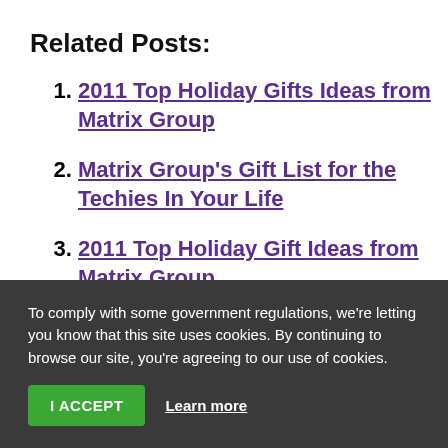Related Posts:
2011 Top Holiday Gifts Ideas from Matrix Group
Matrix Group's Gift List for the Techies In Your Life
2011 Top Holiday Gift Ideas from Matrix Group
2013 Top Holiday Gift Ideas from Matrix Group
To comply with some government regulations, we're letting you know that this site uses cookies. By continuing to browse our site, you're agreeing to our use of cookies.
I ACCEPT   Learn more